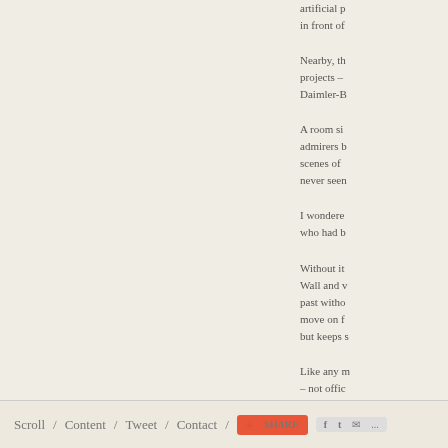artificial p... in front of...
Nearby, th... projects – ... Daimler-B...
A room si... admirers b... scenes of ... never seen...
I wondere... who had b...
Without it... Wall and v... past witho... move on f... but keeps s...
Like any m... – not offic...
Designed a...
Scroll / Content / Tweet / Contact / SHARE F t ... ...